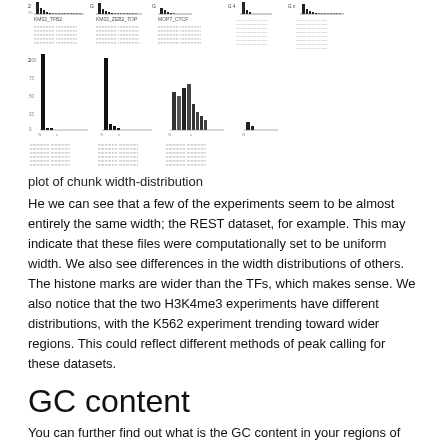[Figure (other): A grid of histograms showing chunk width distributions for multiple ChIP-seq experiments including KM02_TFB2, KM02_ZEB2_TOP, MOP7_CTCF and others, with dense text pattern annotations below each histogram.]
plot of chunk width-distribution
He we can see that a few of the experiments seem to be almost entirely the same width; the REST dataset, for example. This may indicate that these files were computationally set to be uniform width. We also see differences in the width distributions of others. The histone marks are wider than the TFs, which makes sense. We also notice that the two H3K4me3 experiments have different distributions, with the K562 experiment trending toward wider regions. This could reflect different methods of peak calling for these datasets.
GC content
You can further find out what is the GC content in your regions of interest.